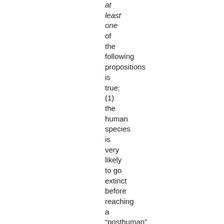at least one of the following propositions is true: (1) the human species is very likely to go extinct before reaching a “posthumans” stage; (2) any posthuman civilization is extremely unlikely